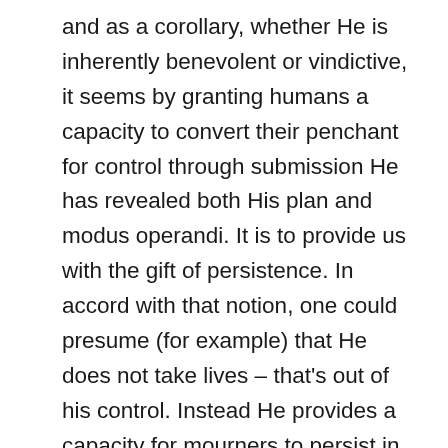and as a corollary, whether He is inherently benevolent or vindictive, it seems by granting humans a capacity to convert their penchant for control through submission He has revealed both His plan and modus operandi. It is to provide us with the gift of persistence. In accord with that notion, one could presume (for example) that He does not take lives – that's out of his control. Instead He provides a capacity for mourners to persist in the aftermath of a loss. Nor does He punish transgressors. Instead He provides them with a capacity to adopt a more humble and submissive mind-set in deferring to laws and moral codes. Whether or not they take advantage of that capacity will determine their fate, and is ultimately